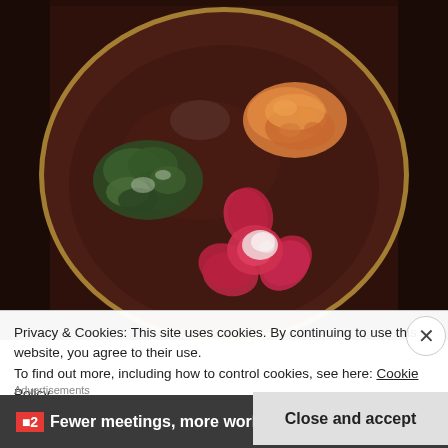[Figure (photo): A dark brown ceramic plate viewed from above with three food items: a green leafy vegetable (sautéed greens) on the left, an orange/yellow seafood item (sea urchin or similar) at the top right, and a bright pink/red flower-shaped dumpling or bun at the bottom center. The plate has a gold rim and sits on a dark brown table.]
Privacy & Cookies: This site uses cookies. By continuing to use this website, you agree to their use.
To find out more, including how to control cookies, see here: Cookie Policy
Advertisements
Close and accept
Fewer meetings, more work.